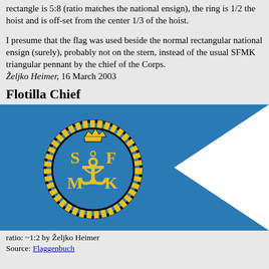rectangle is 5:8 (ratio matches the national ensign), the ring is 1/2 the hoist and is off-set from the center 1/3 of the hoist.
I presume that the flag was used beside the normal rectangular national ensign (surely), probably not on the stern, instead of the usual SFMK triangular pennant by the chief of the Corps. Željko Heimer, 16 March 2003
Flotilla Chief
[Figure (illustration): Blue pennant/flag with a white triangular notch cut into the fly end, and a circular emblem on the hoist side featuring the letters S, F, M, K with an anchor and crown, surrounded by a laurel wreath in gold/yellow on a blue background.]
ratio: ~1:2 by Željko Heimer
Source: Flaggenbuch